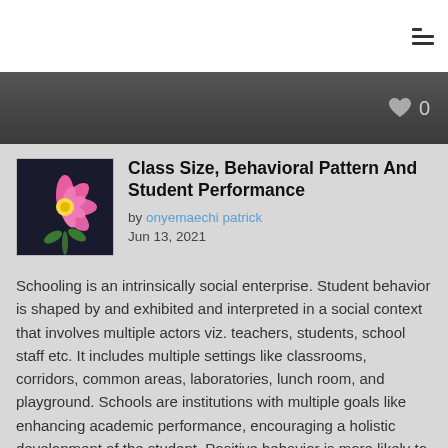Class Size, Behavioral Pattern And Student Performance
by onyemaechi patrick
Jun 13, 2021
Schooling is an intrinsically social enterprise. Student behavior is shaped by and exhibited and interpreted in a social context that involves multiple actors viz. teachers, students, school staff etc. It includes multiple settings like classrooms, corridors, common areas, laboratories, lunch room, and playground. Schools are institutions with multiple goals like enhancing academic performance, encouraging a holistic development of the student. Positive behavior is more likely to thrive when relationships at all levels are trusting and supportive and reflect a shared commitment to establish a healthy school